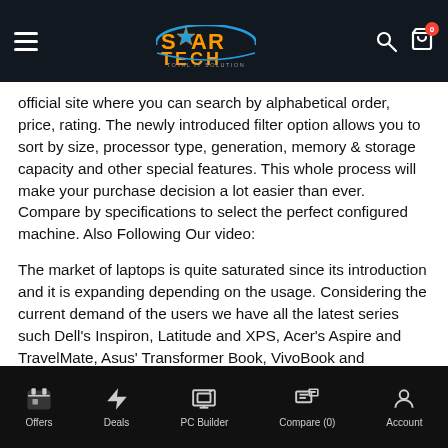Star Tech - Total IT Solution
official site where you can search by alphabetical order, price, rating. The newly introduced filter option allows you to sort by size, processor type, generation, memory & storage capacity and other special features. This whole process will make your purchase decision a lot easier than ever. Compare by specifications to select the perfect configured machine. Also Following Our video:
The market of laptops is quite saturated since its introduction and it is expanding depending on the usage. Considering the current demand of the users we have all the latest series such Dell's Inspiron, Latitude and XPS, Acer's Aspire and TravelMate, Asus' Transformer Book, VivoBook and Zenbook, Lenovo's IdeaPad and ThinkPad and HP's Spectre, EliteBook, Envy, Pavilion and ProBook to assist your choice. Among those types, business laptops are designed with tough...
Offers | Deals | PC Builder | Compare (0) | Account